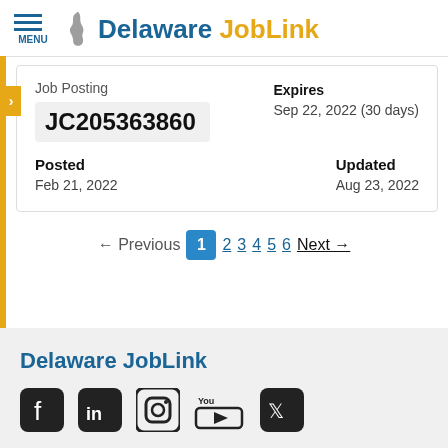Delaware JobLink
Job Posting
JC205363860
Expires
Sep 22, 2022 (30 days)
Posted
Feb 21, 2022
Updated
Aug 23, 2022
← Previous 1 2 3 4 5 6 Next →
Delaware JobLink